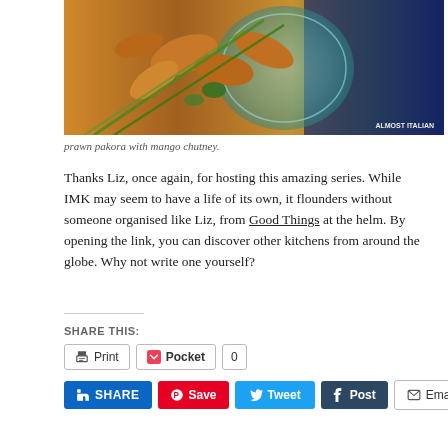[Figure (photo): Overhead photo of prawn pakora on a blue decorative plate with green onions and herbs, with watermark text 'ALMOST ITALIAN']
prawn pakora with mango chutney.
Thanks Liz, once again, for hosting this amazing series. While IMK may seem to have a life of its own, it flounders without someone organised like Liz, from Good Things at the helm. By opening the link, you can discover other kitchens from around the globe. Why not write one yourself?
SHARE THIS:
Print  Pocket  0
SHARE  Save  Tweet  Post  Email